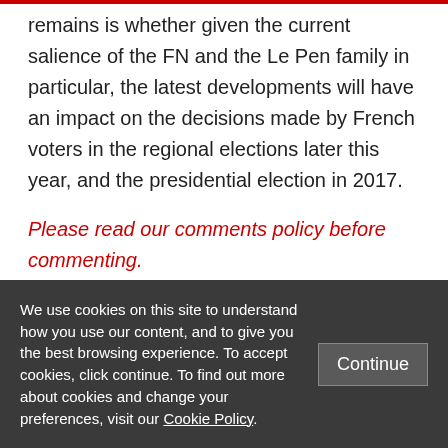remains is whether given the current salience of the FN and the Le Pen family in particular, the latest developments will have an impact on the decisions made by French voters in the regional elections later this year, and the presidential election in 2017.
Please read our comments policy before commenting.
Note: This article gives the views of
We use cookies on this site to understand how you use our content, and to give you the best browsing experience. To accept cookies, click continue. To find out more about cookies and change your preferences, visit our Cookie Policy.